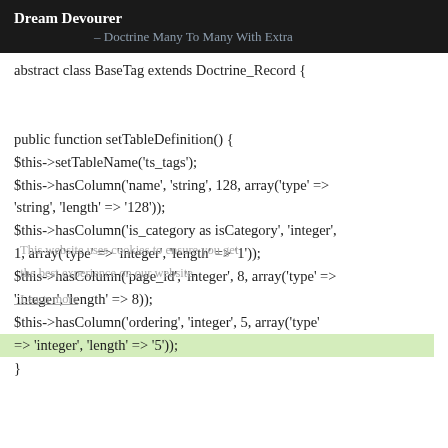Dream Devourer – Doctrine Many To Many With Extra
abstract class BaseTag extends Doctrine_Record {

public function setTableDefinition() {
$this->setTableName('ts_tags');
$this->hasColumn('name', 'string', 128, array('type' => 'string', 'length' => '128'));
$this->hasColumn('is_category as isCategory', 'integer', 1, array('type' => 'integer', 'length' => '1'));
$this->hasColumn('page_id', 'integer', 8, array('type' => 'integer', 'length' => 8));
$this->hasColumn('ordering', 'integer', 5, array('type' => 'integer', 'length' => '5'));
}